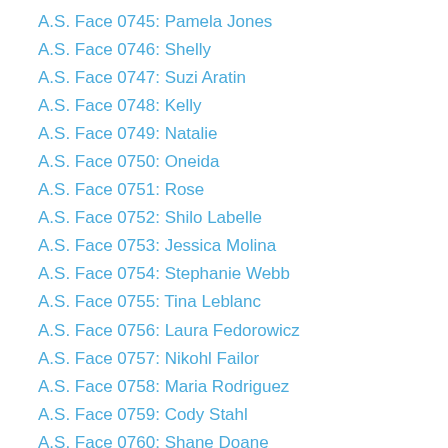A.S. Face 0745: Pamela Jones
A.S. Face 0746: Shelly
A.S. Face 0747: Suzi Aratin
A.S. Face 0748: Kelly
A.S. Face 0749: Natalie
A.S. Face 0750: Oneida
A.S. Face 0751: Rose
A.S. Face 0752: Shilo Labelle
A.S. Face 0753: Jessica Molina
A.S. Face 0754: Stephanie Webb
A.S. Face 0755: Tina Leblanc
A.S. Face 0756: Laura Fedorowicz
A.S. Face 0757: Nikohl Failor
A.S. Face 0758: Maria Rodriguez
A.S. Face 0759: Cody Stahl
A.S. Face 0760: Shane Doane
A.S. Face 0761: Nav
A.S. Face 0762: Hazel
A.S. Face 0763: Amanda Rhudy
A.S. Face 0764: Melanie Ardley